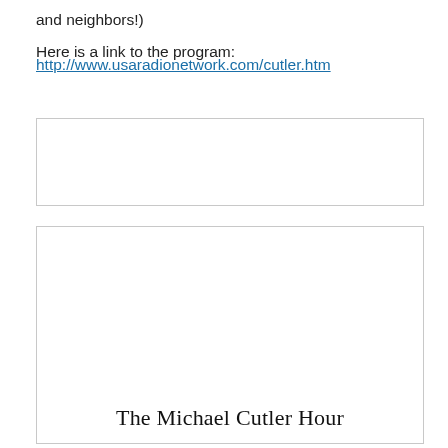and neighbors!)
Here is a link to the program:
http://www.usaradionetwork.com/cutler.htm
[Figure (other): Empty bordered rectangle, appears to be a placeholder image or embedded content area]
[Figure (other): Bordered rectangle with text 'The Michael Cutler Hour' at the bottom, appears to be a program image placeholder]